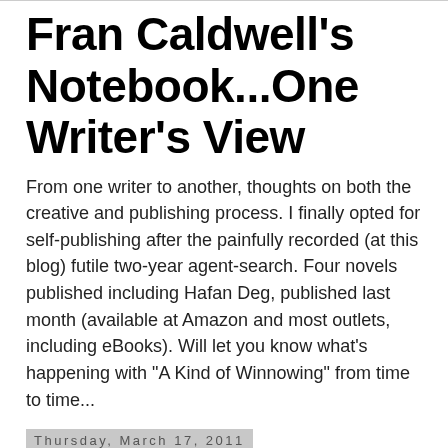Fran Caldwell's Notebook...One Writer's View
From one writer to another, thoughts on both the creative and publishing process. I finally opted for self-publishing after the painfully recorded (at this blog) futile two-year agent-search. Four novels published including Hafan Deg, published last month (available at Amazon and most outlets, including eBooks). Will let you know what's happening with "A Kind of Winnowing" from time to time...
Thursday, March 17, 2011
Life After the Novel is Finished
Uncharacteristic Behavior is finished. I've been over it for the thousandth time, pruned, tidied and dusted, and have now